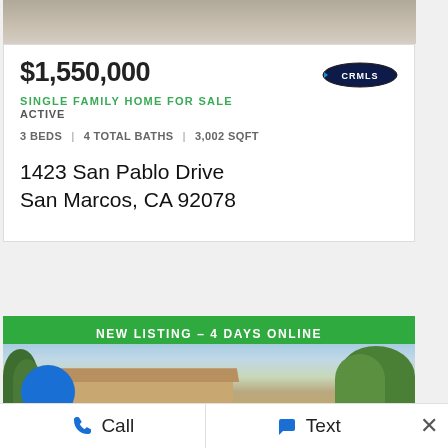[Figure (photo): Top partial view of a residential driveway or exterior ground surface]
$1,550,000
SINGLE FAMILY HOME FOR SALE
ACTIVE
3 BEDS | 4 TOTAL BATHS | 3,002 SQFT
1423 San Pablo Drive
San Marcos, CA 92078
[Figure (logo): CRMLS logo in upper right of listing card]
NEW LISTING – 4 DAYS ONLINE
[Figure (photo): Exterior photo of a residential home with trees, blue sky background, and a blue circle overlay]
Call
Text